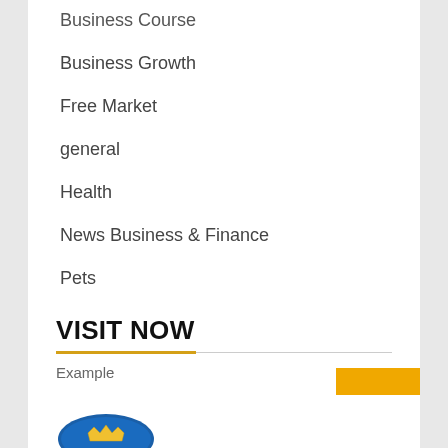Business Course
Business Growth
Free Market
general
Health
News Business & Finance
Pets
Real Estate
VISIT NOW
Example
[Figure (logo): Intellifluence badge/logo — circular blue badge with crown icon and text 'Intellifluence']